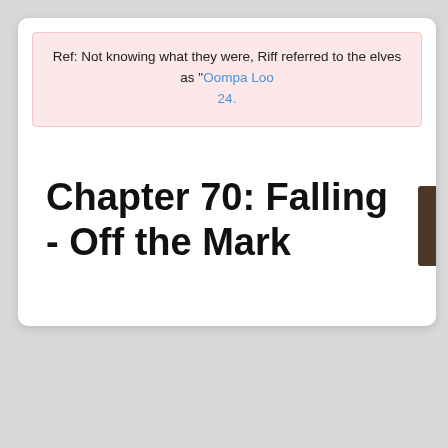Ref: Not knowing what they were, Riff referred to the elves as "Oompa Loo... 24.
Chapter 70: Falling - Off the Mark